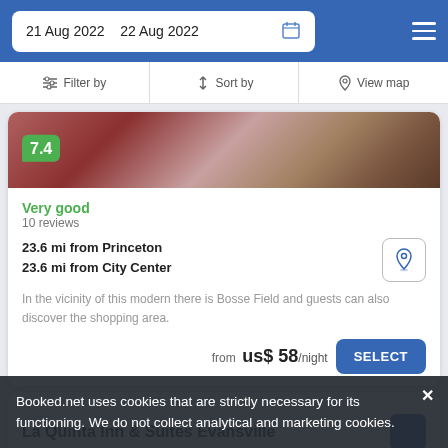21 Aug 2022  22 Aug 2022
Filter by  Sort by  View map
[Figure (photo): Hotel room photo used as card header image]
7.4
Very good
10 reviews
23.6 mi from Princeton
23.6 mi from City Center
In the vicinity of this modern there is Bosse Field and guests can also discover the shopping area.
from  us$ 58/night
SELECT
La Quinta Inn & Suites Evansville
Booked.net uses cookies that are strictly necessary for its functioning. We do not collect analytical and marketing cookies.